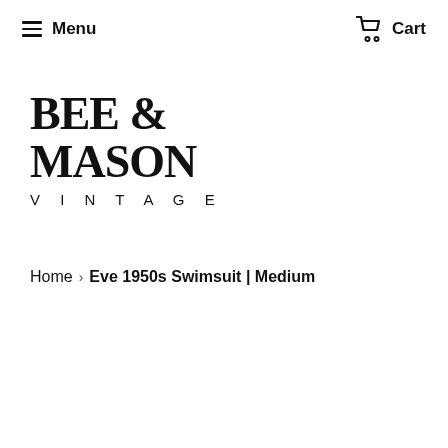Menu  Cart
BEE & MASON VINTAGE
Home › Eve 1950s Swimsuit | Medium